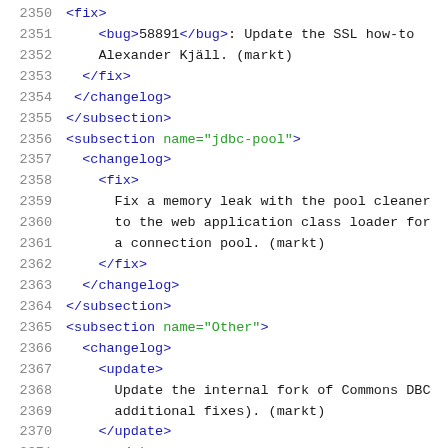Code listing lines 2350-2371 showing XML changelog entries for jdbc-pool and Other subsections